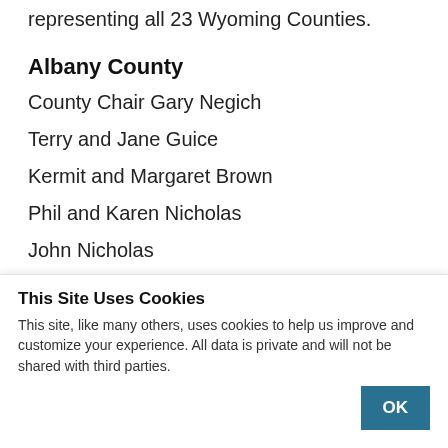representing all 23 Wyoming Counties.
Albany County
County Chair Gary Negich
Terry and Jane Guice
Kermit and Margaret Brown
Phil and Karen Nicholas
John Nicholas
Patti MacMillan
Deke Dunne
Sam Dunnuck
This Site Uses Cookies
This site, like many others, uses cookies to help us improve and customize your experience. All data is private and will not be shared with third parties.